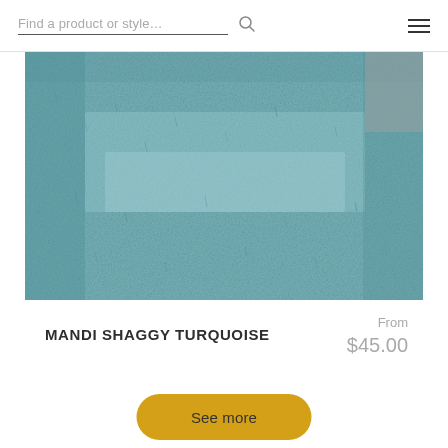Find a product or style…
[Figure (photo): Close-up photo of a turquoise/teal shaggy rug texture showing looped pile fibers]
MANDI SHAGGY TURQUOISE
From $45.00
See more